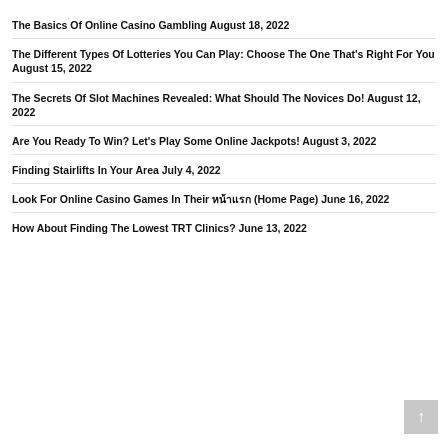The Basics Of Online Casino Gambling August 18, 2022
The Different Types Of Lotteries You Can Play: Choose The One That's Right For You August 15, 2022
The Secrets Of Slot Machines Revealed: What Should The Novices Do! August 12, 2022
Are You Ready To Win? Let's Play Some Online Jackpots! August 3, 2022
Finding Stairlifts In Your Area July 4, 2022
Look For Online Casino Games In Their หน้าแรก (Home Page) June 16, 2022
How About Finding The Lowest TRT Clinics? June 13, 2022